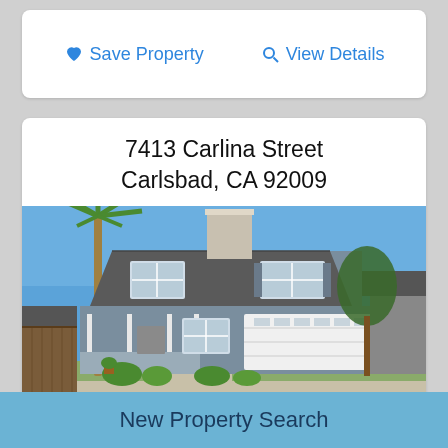♥ Save Property   🔍 View Details
7413 Carlina Street
Carlsbad, CA 92009
[Figure (photo): Exterior photo of a two-story house at 7413 Carlina Street, Carlsbad, CA 92009. The home has gray-blue siding, a white chimney, tile roof, white garage door, covered front porch, and is flanked by a tall palm tree on the left and trees on the right. Blue sky background.]
New Property Search